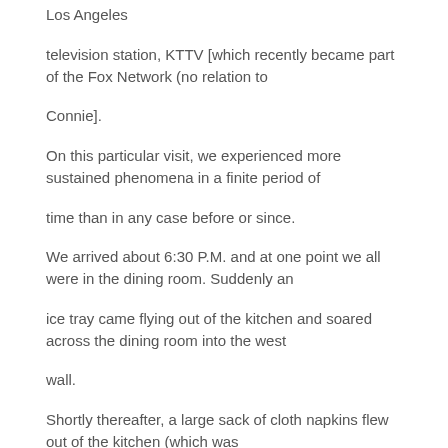Los Angeles
television station, KTTV [which recently became part of the Fox Network (no relation to
Connie].
On this particular visit, we experienced more sustained phenomena in a finite period of
time than in any case before or since.
We arrived about 6:30 P.M. and at one point we all were in the dining room. Suddenly an
ice tray came flying out of the kitchen and soared across the dining room into the west
wall.
Shortly thereafter, a large sack of cloth napkins flew out of the kitchen (which was
empty) and struck silver platterware in the dining room directly in front of Connie Fox.